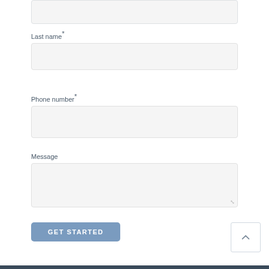Last name*
Phone number*
Message
Get Started